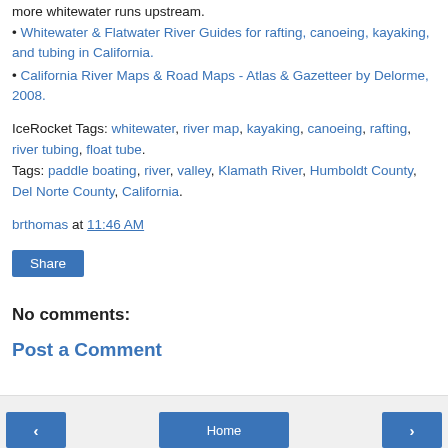more whitewater runs upstream.
• Whitewater & Flatwater River Guides for rafting, canoeing, kayaking, and tubing in California.
• California River Maps & Road Maps - Atlas & Gazetteer by Delorme, 2008.
IceRocket Tags: whitewater, river map, kayaking, canoeing, rafting, river tubing, float tube. Tags: paddle boating, river, valley, Klamath River, Humboldt County, Del Norte County, California.
brthomas at 11:46 AM
Share
No comments:
Post a Comment
‹  Home  ›